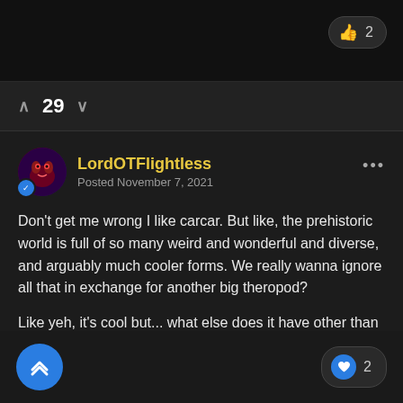2
29
LordOTFlightless
Posted November 7, 2021
Don't get me wrong I like carcar. But like, the prehistoric world is full of so many weird and wonderful and diverse, and arguably much cooler forms. We really wanna ignore all that in exchange for another big theropod?
Like yeh, it's cool but... what else does it have other than that?
2